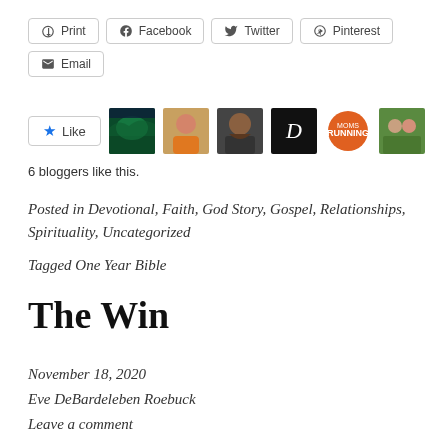Print | Facebook | Twitter | Pinterest | Email (share buttons)
[Figure (other): Like button with star icon and 6 blogger avatar thumbnails]
6 bloggers like this.
Posted in Devotional, Faith, God Story, Gospel, Relationships, Spirituality, Uncategorized
Tagged One Year Bible
The Win
November 18, 2020
Eve DeBardeleben Roebuck
Leave a comment